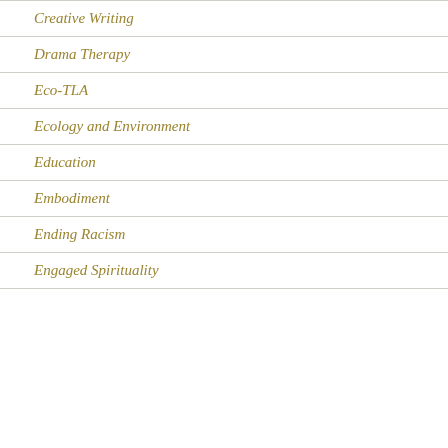Creative Writing
Drama Therapy
Eco-TLA
Ecology and Environment
Education
Embodiment
Ending Racism
Engaged Spirituality